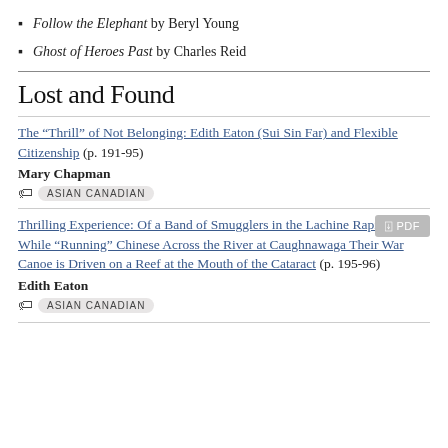Follow the Elephant by Beryl Young
Ghost of Heroes Past by Charles Reid
Lost and Found
The “Thrill” of Not Belonging: Edith Eaton (Sui Sin Far) and Flexible Citizenship (p. 191-95)
Mary Chapman
ASIAN CANADIAN
Thrilling Experience: Of a Band of Smugglers in the Lachine Rapids.: While “Running” Chinese Across the River at Caughnawaga Their War Canoe is Driven on a Reef at the Mouth of the Cataract (p. 195-96)
Edith Eaton
ASIAN CANADIAN